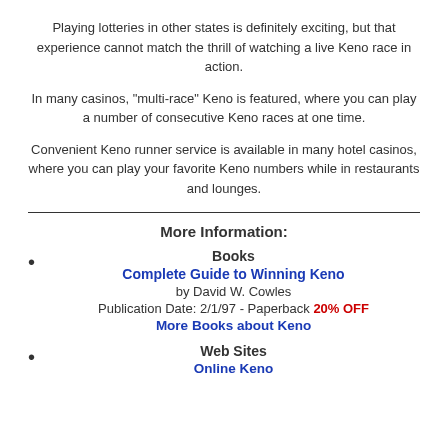Playing lotteries in other states is definitely exciting, but that experience cannot match the thrill of watching a live Keno race in action.
In many casinos, "multi-race" Keno is featured, where you can play a number of consecutive Keno races at one time.
Convenient Keno runner service is available in many hotel casinos, where you can play your favorite Keno numbers while in restaurants and lounges.
More Information:
Books
Complete Guide to Winning Keno
by David W. Cowles
Publication Date: 2/1/97 - Paperback 20% OFF
More Books about Keno
Web Sites
Online Keno